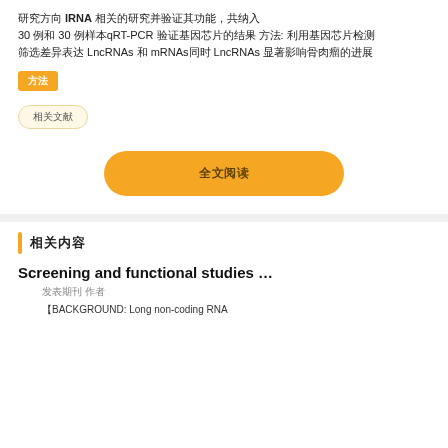研究方向 lRNA 相关的研究并验证其功能，共纳入 30 例和 30 例样本qRT-PCR 验证基因芯片的结果 方法: 利用基因芯片检测 筛选差异表达 LncRNAs 和 mRNAs同时 LncRNAs 显著影响骨肉瘤的进展
方法
相关文献
全文阅读
相关内容
Screening and functional studies …
发表期刊 作者
【BACKGROUND: Long non-coding RNA